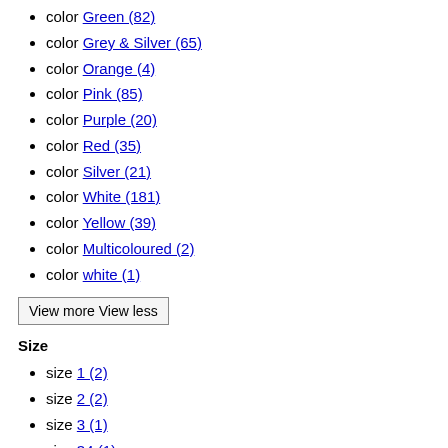color Green (82)
color Grey & Silver (65)
color Orange (4)
color Pink (85)
color Purple (20)
color Red (35)
color Silver (21)
color White (181)
color Yellow (39)
color Multicoloured (2)
color white (1)
View more View less
Size
size 1 (2)
size 2 (2)
size 3 (1)
size 34 (1)
size 35 (3)
size 36 (4)
size 37 (3)
size 38 (4)
size 39 (4)